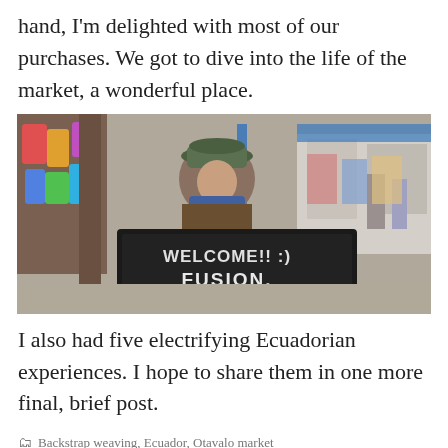hand, I'm delighted with most of our purchases. We got to dive into the life of the market, a wonderful place.
[Figure (photo): A woman vendor wearing a green hat and blue shawl stands at an outdoor market stall. In the foreground is a large black chalkboard sign reading 'WELCOME!! FUSION. TEX MEX & FOOD'. Colorful clothing hangs on the left. Other market stalls are visible in the background.]
I also had five electrifying Ecuadorian experiences. I hope to share them in one more final, brief post.
Backstrap weaving, Ecuador, Otavalo market